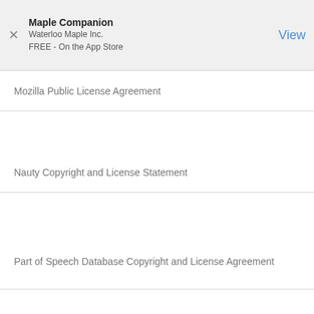Maple Companion
Waterloo Maple Inc.
FREE - On the App Store
Mozilla Public License Agreement
Nauty Copyright and License Statement
Part of Speech Database Copyright and License Agreement
Protocol Buffers License Agreement
Python License
python-webencodings License
Qhull License
QuantLib License